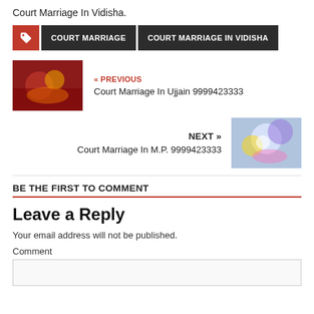Court Marriage In Vidisha.
COURT MARRIAGE | COURT MARRIAGE IN VIDISHA
« PREVIOUS
Court Marriage In Ujjain 9999423333
NEXT »
Court Marriage In M.P. 9999423333
BE THE FIRST TO COMMENT
Leave a Reply
Your email address will not be published.
Comment